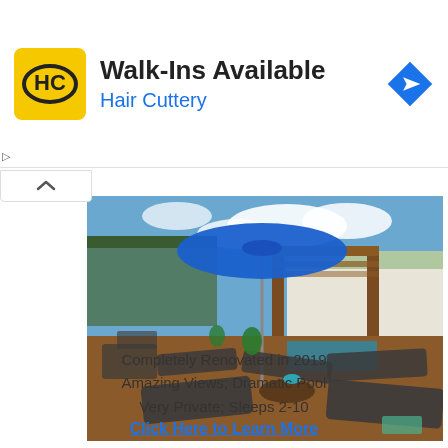[Figure (logo): Hair Cuttery HC logo in yellow/black square with rounded corners, beside ad text 'Walk-Ins Available / Hair Cuttery' and a blue navigation arrow icon at right]
Walk-Ins Available
Hair Cuttery
[Figure (photo): Outdoor pool area of a renovated tropical villa with blue patio umbrella, lounge chairs, wooden deck, and house in background under partly cloudy sky]
Completely Renovated in 2019
Amazing Views; Dramatic Pool
Very Private; Sleeps 2-10
Click Here to Learn More